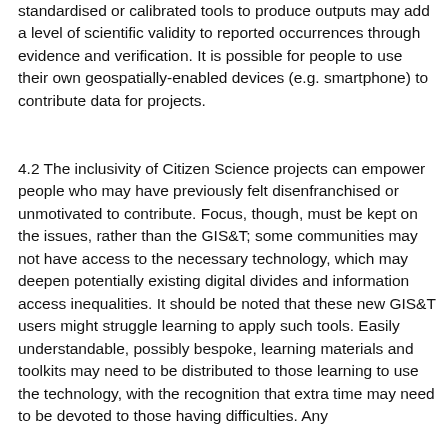standardised or calibrated tools to produce outputs may add a level of scientific validity to reported occurrences through evidence and verification. It is possible for people to use their own geospatially-enabled devices (e.g. smartphone) to contribute data for projects.
4.2 The inclusivity of Citizen Science projects can empower people who may have previously felt disenfranchised or unmotivated to contribute. Focus, though, must be kept on the issues, rather than the GIS&T; some communities may not have access to the necessary technology, which may deepen potentially existing digital divides and information access inequalities. It should be noted that these new GIS&T users might struggle learning to apply such tools. Easily understandable, possibly bespoke, learning materials and toolkits may need to be distributed to those learning to use the technology, with the recognition that extra time may need to be devoted to those having difficulties. Any